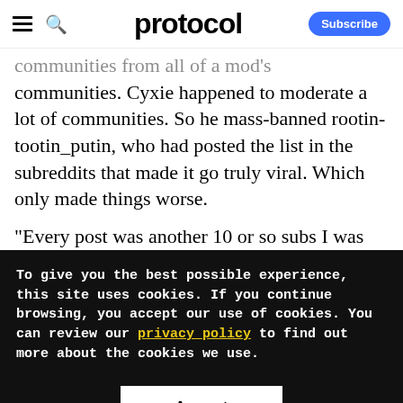protocol
communities. Cyxie happened to moderate a lot of communities. So he mass-banned rootin-tootin_putin, who had posted the list in the subreddits that made it go truly viral. Which only made things worse.
"Every post was another 10 or so subs I was
To give you the best possible experience, this site uses cookies. If you continue browsing, you accept our use of cookies. You can review our privacy policy to find out more about the cookies we use.
Accept